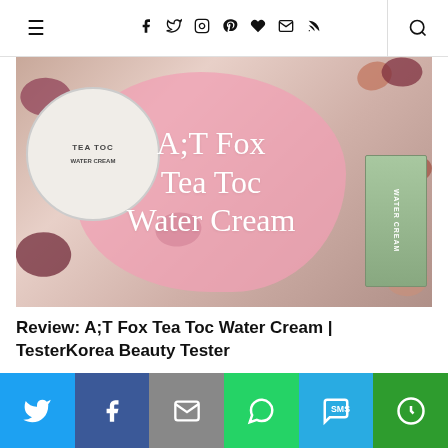Navigation bar with hamburger menu, social icons (facebook, twitter, instagram, pinterest, heart, mail, rss), and search icon
[Figure (photo): Product photo of A;T Fox Tea Toc Water Cream jar and box with pink overlay text reading 'A;T Fox Tea Toc Water Cream' on a floral background with rose petals]
Review: A;T Fox Tea Toc Water Cream | TesterKorea Beauty Tester
3. October 2018
Social share buttons: Twitter, Facebook, Email, WhatsApp, SMS, More